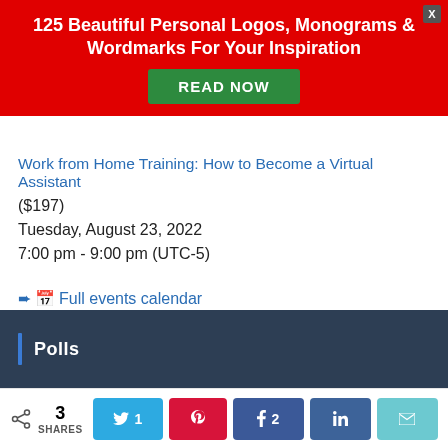[Figure (other): Red promotional banner with title '125 Beautiful Personal Logos, Monograms & Wordmarks For Your Inspiration' and a green 'READ NOW' button, with a close X button in top right corner.]
Work from Home Training: How to Become a Virtual Assistant
($197)
Tuesday, August 23, 2022
7:00 pm - 9:00 pm (UTC-5)
➨🗓 Full events calendar
Polls
3 SHARES | t 1 | a | f 2 | in | email